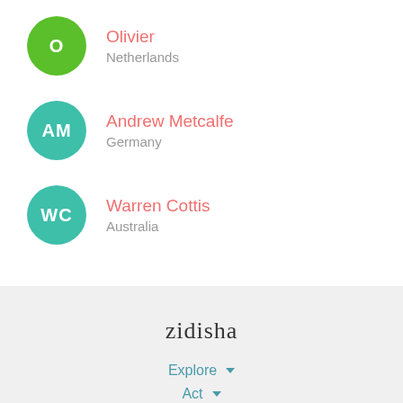Olivier - Netherlands
Andrew Metcalfe - Germany
Warren Cottis - Australia
zidisha
Explore
Act